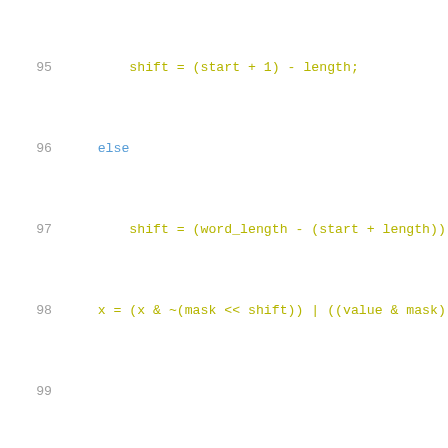Source code listing lines 95-116 showing C/C++ code with comments about insertion routine, ATTRS, WORD_OFFSET, WORD_LENGTH, START, LENGTH, TOTAL_LENGTH parameters.